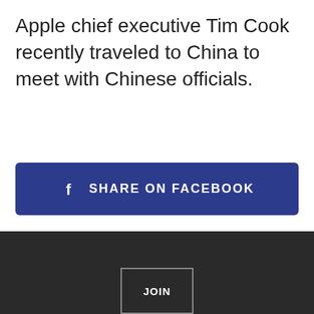Apple chief executive Tim Cook recently traveled to China to meet with Chinese officials.
[Figure (other): Share on Facebook button with Facebook logo icon and text 'SHARE ON FACEBOOK' on a dark blue background]
[Figure (other): JOIN button on dark background in the page footer]